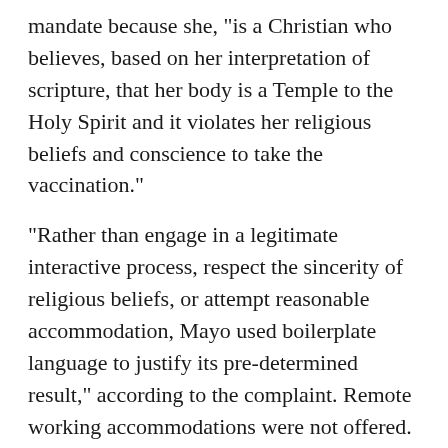mandate because she, "is a Christian who believes, based on her interpretation of scripture, that her body is a Temple to the Holy Spirit and it violates her religious beliefs and conscience to take the vaccination."
"Rather than engage in a legitimate interactive process, respect the sincerity of religious beliefs, or attempt reasonable accommodation, Mayo used boilerplate language to justify its pre-determined result," according to the complaint. Remote working accommodations were not offered.
The complaint further alleges that throughout the process Mayo staff were further instructed to "endorse the vaccine or say nothing."
Only a couple of months after terminating Kiel, Mayo